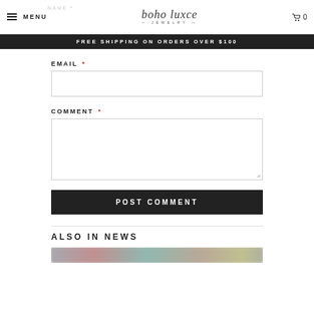boho luxe JEWELRY — MENU — 0
FREE SHIPPING ON ORDERS OVER $100
EMAIL *
COMMENT *
POST COMMENT
ALSO IN NEWS